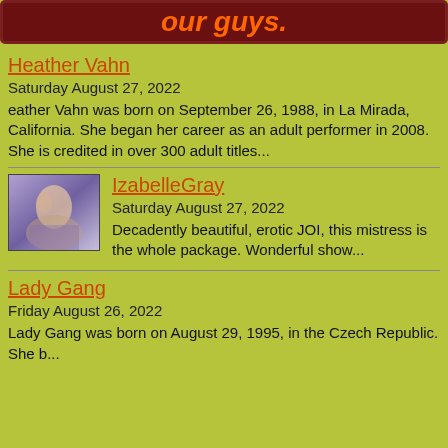our guys.
Heather Vahn
Saturday August 27, 2022
eather Vahn was born on September 26, 1988, in La Mirada, California. She began her career as an adult performer in 2008. She is credited in over 300 adult titles...
IzabelleGray
Saturday August 27, 2022
Decadently beautiful, erotic JOI, this mistress is the whole package. Wonderful show...
Lady Gang
Friday August 26, 2022
Lady Gang was born on August 29, 1995, in the Czech Republic. She b...